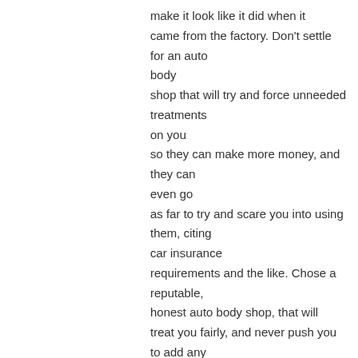make it look like it did when it came from the factory. Don't settle for an auto body shop that will try and force unneeded treatments on you so they can make more money, and they can even go as far to try and scare you into using them, citing car insurance requirements and the like. Chose a reputable, honest auto body shop, that will treat you fairly, and never push you to add any unnecessary repairs that you don't need and don't want; we believe you as a consumer have the fundamental right to spend your money where you want.